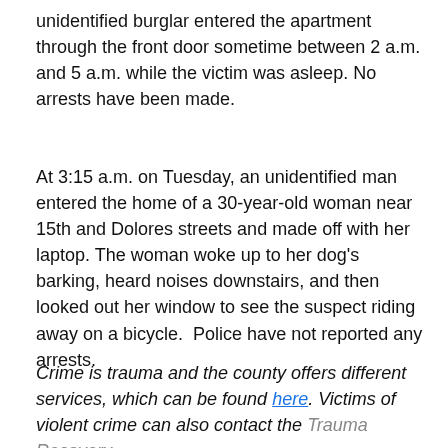unidentified burglar entered the apartment through the front door sometime between 2 a.m. and 5 a.m. while the victim was asleep. No arrests have been made.
At 3:15 a.m. on Tuesday, an unidentified man entered the home of a 30-year-old woman near 15th and Dolores streets and made off with her laptop. The woman woke up to her dog's barking, heard noises downstairs, and then looked out her window to see the suspect riding away on a bicycle.  Police have not reported any arrests.
Crime is trauma and the county offers different services, which can be found here. Victims of violent crime can also contact the Trauma Recovery